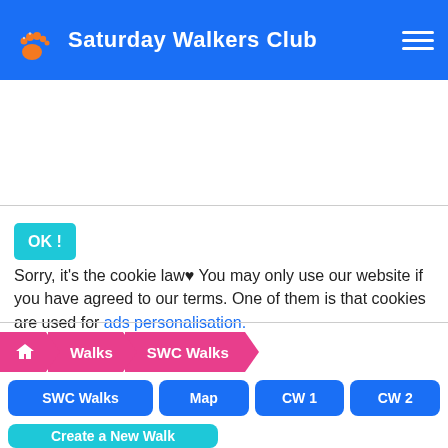Saturday Walkers Club
OK ! Sorry, it's the cookie law♥ You may only use our website if you have agreed to our terms. One of them is that cookies are used for ads personalisation.
Home > Walks > SWC Walks
SWC Walks | Map | CW 1 | CW 2
Create a New Walk